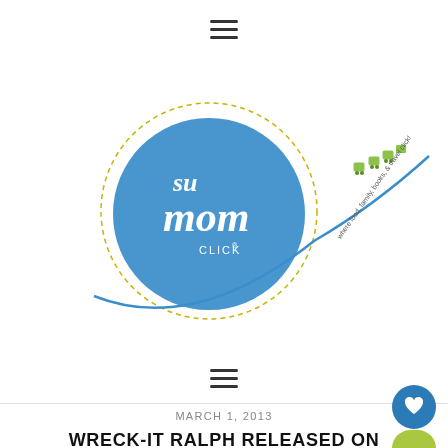≡ (hamburger menu icon)
[Figure (logo): SU Mom Clicks logo — blue circle with cursive text 'su mom CLICK' and tagline 'where food, family, books, & travel click' with small cart/bag icons on a swooping blue curve]
≡ (hamburger menu icon)
MARCH 1, 2013
WRECK-IT RALPH RELEASED ON BLU-RAY TUESDAY, MARCH 5: HAVE